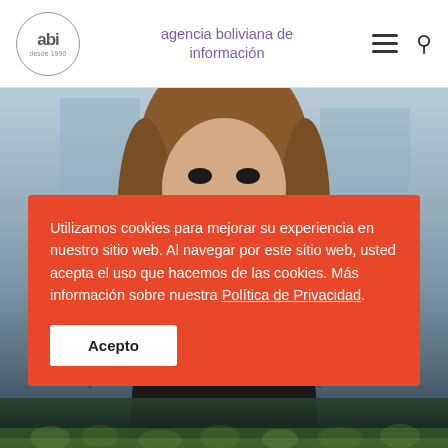abi agencia boliviana de información
[Figure (photo): Woman with black face mask speaking to press with microphones in front of her, brown hair, blurred building background]
Utilizamos cookies para mejorar su experiencia en nuestro sitio web. Al navegar por este sitio web, usted acepta el uso que hacemos de las cookies. Más información sobre nuestra Política de Privacidad.
Acepto